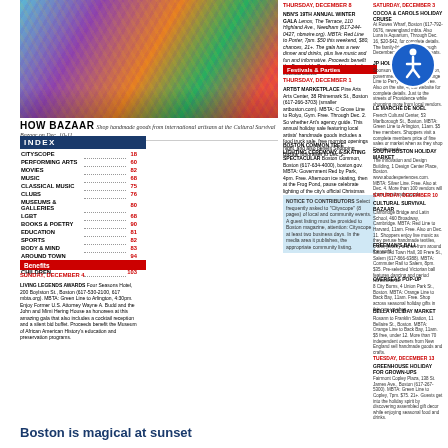[Figure (photo): Colorful handmade goods displayed at the Cultural Survival Bazaar]
HOW BAZAAR Shop handmade goods from international artisans at the Cultural Survival Bazaar on Dec. 10-11.
INDEX
| Category | Page |
| --- | --- |
| CITYSCOPE | 18 |
| PERFORMING ARTS | 60 |
| MOVIES | 82 |
| MUSIC | 68 |
| CLASSICAL MUSIC | 75 |
| CLUBS | 76 |
| MUSEUMS & GALLERIES | 80 |
| LGBT | 68 |
| BOOKS & POETRY | 90 |
| EDUCATION | 81 |
| SPORTS | 82 |
| BODY & MIND | 83 |
| AROUND TOWN | 94 |
| TASTINGS | 98 |
| CHILDREN | 103 |
Benefits
SUNDAY, DECEMBER 4
LIVING LEGENDS AWARDS Four Season Hotel, 200 Boylston St., Boston (617-530-2100, 617 mbta.org). MBTA: Green Line to Arlington, 4:30pm. Enjoy Former U.S. Attorney Wayne A. Budd and the John and Mimi Hering House as honorees at this amazing gala that also includes a cocktail reception and a silent bid buffet. Proceeds benefit the Museum of African American History's education and preservation programs.
THURSDAY, DECEMBER 8
NBN'S 19TH ANNUAL WINTER GALA Lenox, The Terrace, 110 Highland Ave., Needham (617-244-0427, nbnwire.org). MBTA: Red Line to Porter, 7pm. $50 this weekend, $80 chances, 21+. The gala has a new dinner and drinks, plus live music and fun and informative. Proceeds benefit the Barnstable Business Network of Massachusetts.
Festivals & Parties
THURSDAY, DECEMBER 1
ARTBT MARKETPLACE Pine Arts Arts Center, 38 Rhinemark St., Boston (617-266-3703) (smaller artboston.com). MBTA: C Grove Line to Rolyo, Gym. Free. Through Dec. 2. So whether Art's agency guide. This annual holiday sale featuring local artists' handmade goods includes a food truck sale, free morning openings night, and also benefit Shopping Bazaar fundraiser to Dec. 2.
BOSTON COMMON TREE LIGHTING CEREMONY & SKATING SPECTACULAR Boston Common, Boston (617-634-4000), boston.gov. MBTA: Government Red by Park, 4pm. Free. Afternoon ice skating, then at the Frog Pond, pause celebrate lighting of the city's official Christmas tree.
NOTICE TO CONTRIBUTORS Select frequently asked to "Cityscope" (8 pages) of local and community events. A guest listing must be provided to Boston magazine, attention: Cityscope at least two business days. In the media area it publishes, the appropriate community listing.
SATURDAY, DECEMBER 3
COCOA & CAROLS HOLIDAY CRUISE At Rowes Wharf, Boston (617-792-0676, newengland mbta. Also Luna is Aquarium, Through Dec. 16, $20-$42, for complete details. The family-friendly sails through Decembers include holiday treats.
JP HOLIDAY PLUS Sponsored at Foothill Ct., Boston, government mbta. MBTA: Orange Line to Perry Street, 1pm. Free. Also on the site, 4, the website for complete details. Just to the streets of Providence while shopping more from local vendors.
LE MARCHÉ DE NOËL French Cultural Center, 53 Marlborough St., Boston (for our more French administration.org). MBTA: Green Line to Arlington, 11am. $5 free members. Shoppers visit a complete members price of fine sales or market when as they shop French goods.
SOUTH BOSTON HOLIDAY MARKET The Innovation and Design Building, 1 Design Center Place, Boston. www.abodesperiences.com. MBTA: Silver Line to D1br to 11am. Free. Also at Dec. 4. More than 100 vendors will share handmade goods.
SATURDAY, DECEMBER 10
CULTURAL SURVIVAL BAZAAR Cambridge Bridge and Latin School, 460 Broadway, Cambridge (11 am, 1pm, ok, 12 cultures @culturalsurvival.org). MBTA: Red Line to Harvard, 11am. Free. Also on Dec. 11. Shoppers enjoy live music as they peruse handmade textiles, crafts, jewelry and art from around the world.
FREEMAN'S BALL Salute Old Town Hall, 30 Frere St., Salem (617-866-6388) victorianvogue.org. MBTA: Commuter Rail to Salem, 8pm. $35. Pre-selected this evening presentation, this Victorian ball features dancing and period refreshments.
OVERSEAS POP-UP 8 City Burns, 4 Union Park St., Boston (617-962-7868, cstudio.com). MBTA: Orange Line to Back Bay, 11am. Free. Shop across seasonal holiday gifts in this pop-up shop.
BELLA HOLIDAY MARKET Rosann to Franklin Station, 11 Bellaire St., Boston. vendabellabeta.com. MBTA: Orange Line to Back Bay, 11am. $5 free, under 12. More than 70 independent owners from New England sell handmade goods and crafts.
TUESDAY, DECEMBER 13
GREENHOUSE HOLIDAY FOR GROWN-UPS Fairmont Copley Plaza, 138 St. James Ave., Boston (617-267-5300, pregrowl@holidayforgrownups.com). MBTA: Green Line to Copley, 7pm. $75; $115 per couple. 21+. Guests get into the holiday spirit by discovering and assembled gift godfined decor while enjoying seasonal food and drinks.
[Figure (logo): Accessibility icon (wheelchair symbol in blue circle)]
Boston is magical at sunset